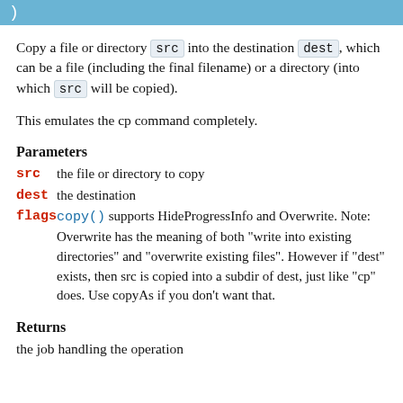)
Copy a file or directory src into the destination dest, which can be a file (including the final filename) or a directory (into which src will be copied).
This emulates the cp command completely.
Parameters
src   the file or directory to copy
dest  the destination
flags  copy() supports HideProgressInfo and Overwrite. Note: Overwrite has the meaning of both "write into existing directories" and "overwrite existing files". However if "dest" exists, then src is copied into a subdir of dest, just like "cp" does. Use copyAs if you don't want that.
Returns
the job handling the operation